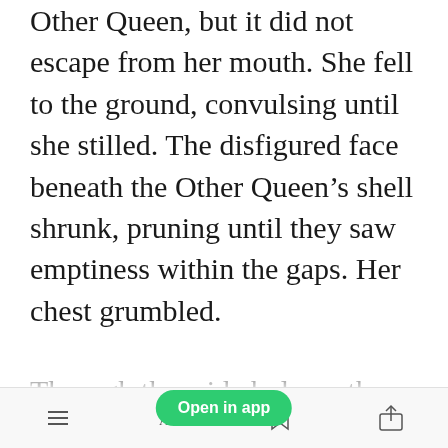Other Queen, but it did not escape from her mouth. She fell to the ground, convulsing until she stilled. The disfigured face beneath the Other Queen's shell shrunk, pruning until they saw emptiness within the gaps. Her chest grumbled.
Through the wide hole on the upper half of her face, a naked and shrivelled gre[Open in app]rawled out. Her hair was sparse and wiry, her
[Figure (other): Green 'Open in app' button overlay on top of the reading text]
Toolbar with menu, font size (AA), bookmark, and share icons